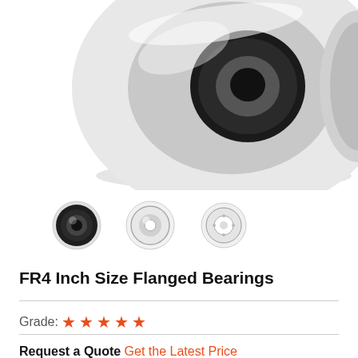[Figure (photo): Close-up photo of a flanged ball bearing, showing silver metallic outer ring and black rubber seal, viewed from an angle.]
[Figure (photo): Three thumbnail images of FR4 flanged bearings: left with black seal, center silver/open, right smaller open bearing.]
FR4 Inch Size Flanged Bearings
Grade: ★★★★★
Request a Quote Get the Latest Price
MOQ : 10 (In Stock)